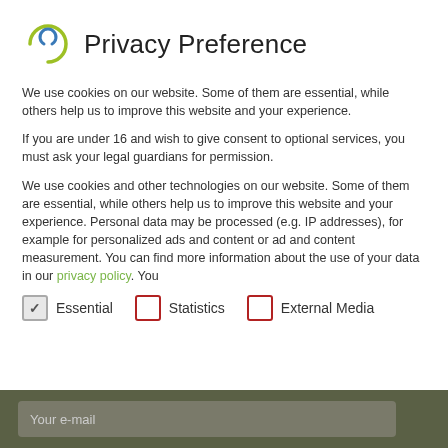Privacy Preference
We use cookies on our website. Some of them are essential, while others help us to improve this website and your experience.
If you are under 16 and wish to give consent to optional services, you must ask your legal guardians for permission.
We use cookies and other technologies on our website. Some of them are essential, while others help us to improve this website and your experience. Personal data may be processed (e.g. IP addresses), for example for personalized ads and content or ad and content measurement. You can find more information about the use of your data in our privacy policy. You
Essential (checked)
Statistics (unchecked)
External Media (unchecked)
Your e-mail